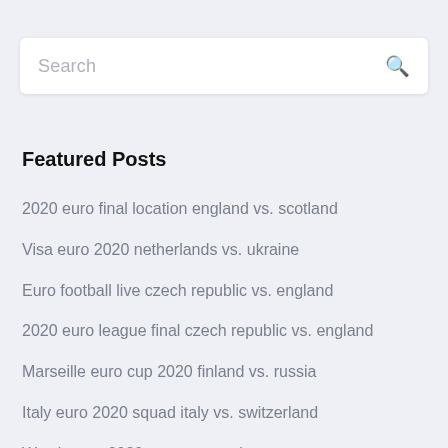Search
Featured Posts
2020 euro final location england vs. scotland
Visa euro 2020 netherlands vs. ukraine
Euro football live czech republic vs. england
2020 euro league final czech republic vs. england
Marseille euro cup 2020 finland vs. russia
Italy euro 2020 squad italy vs. switzerland
Watch euro 2020 germany vs. hungary